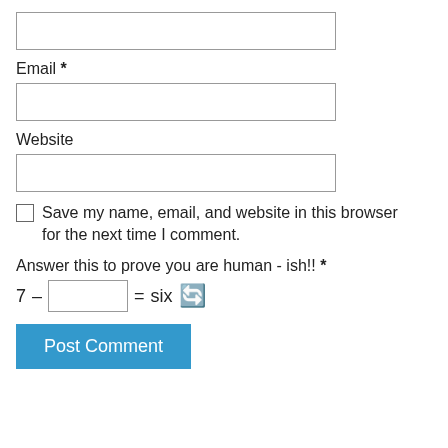[Figure (other): Empty text input field (top, no label visible)]
Email *
[Figure (other): Email input field]
Website
[Figure (other): Website input field]
Save my name, email, and website in this browser for the next time I comment.
Answer this to prove you are human - ish!! *
7 – [input] = six ↺
Post Comment